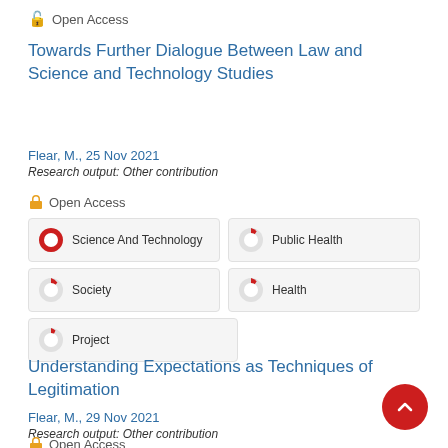Open Access
Towards Further Dialogue Between Law and Science and Technology Studies
Flear, M., 25 Nov 2021
Research output: Other contribution
Open Access
[Figure (infographic): Five keyword badges showing percentage pie icons: Science And Technology (100%), Public Health (~11%), Society (~13%), Health (~11%), Project (~8%)]
Understanding Expectations as Techniques of Legitimation
Flear, M., 29 Nov 2021
Research output: Other contribution
Open Access